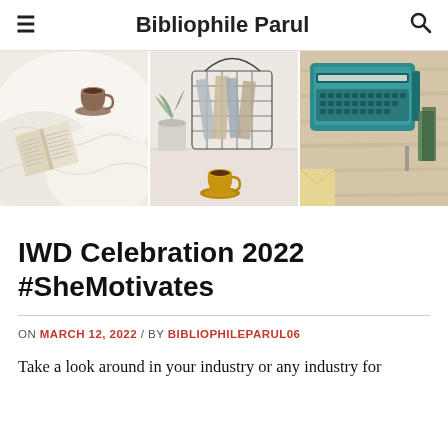Bibliophile Parul
[Figure (photo): Three panel image strip: left panel shows an open book with a tea cup on white bedding; center panel shows magazines in a wire basket with a gold coffee cup and a plant; right panel shows a teal vintage typewriter on a wooden surface with books and an envelope.]
IWD Celebration 2022 #SheMotivates
ON MARCH 12, 2022 / BY BIBLIOPHILEPARUL06
Take a look around in your industry or any industry for